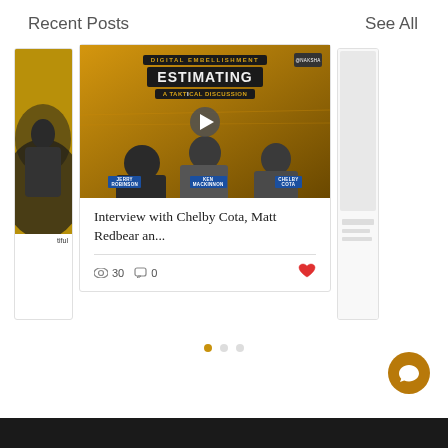Recent Posts
See All
[Figure (screenshot): Blog post card carousel showing a video thumbnail for 'Digital Embellishment Estimating: A Taktical Discussion' with three panelists, title 'Interview with Chelby Cota, Matt Redbear an...', 30 views, 0 comments, heart/like icon. Partial cards visible on left and right.]
Interview with Chelby Cota, Matt Redbear an...
30
0
Carousel navigation dots (3 dots, first active)